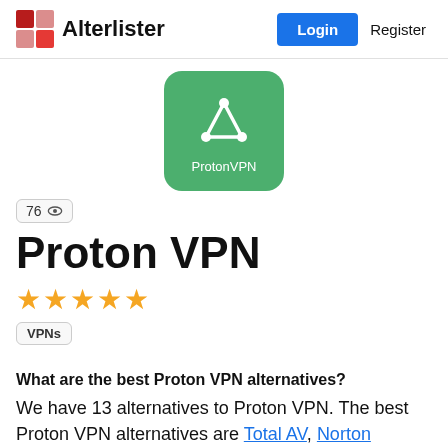Alterlister — Login | Register
[Figure (logo): ProtonVPN green square logo with white triangle/arrow network icon and label 'ProtonVPN']
76 👁
Proton VPN
[Figure (other): 5 gold star rating]
VPNs
What are the best Proton VPN alternatives?
We have 13 alternatives to Proton VPN. The best Proton VPN alternatives are Total AV, Norton Antivirus, and NordVPN